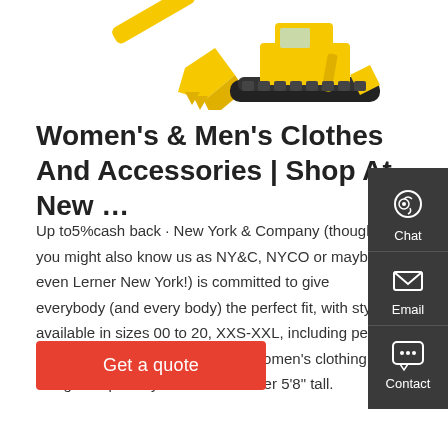[Figure (photo): Two yellow construction excavators/machinery on white background - one showing a bucket attachment on the left, one showing a full tracked excavator on the right]
Women's & Men's Clothes And Accessories | Shop At New …
Up to5%cash back · New York & Company (though you might also know us as NY&C, NYCO or maybe even Lerner New York!) is committed to give everybody (and every body) the perfect fit, with styles available in sizes 00 to 20, XXS-XXL, including petite women's clothing, as well as tall women's clothing designed specially to fit women over 5'8" tall.
[Figure (infographic): Dark grey side panel with three icons: Chat (headset), Email (envelope), Contact (speech bubble with dots)]